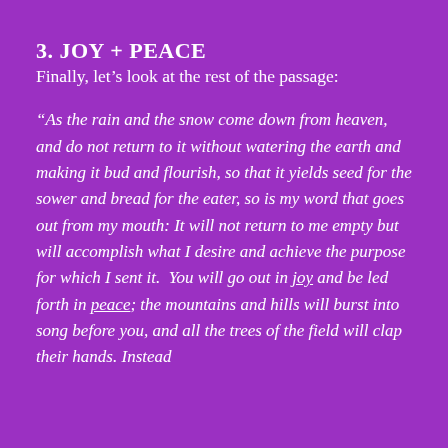3. JOY + PEACE
Finally, let’s look at the rest of the passage:
“As the rain and the snow come down from heaven, and do not return to it without watering the earth and making it bud and flourish, so that it yields seed for the sower and bread for the eater, so is my word that goes out from my mouth: It will not return to me empty but will accomplish what I desire and achieve the purpose for which I sent it.  You will go out in joy and be led forth in peace; the mountains and hills will burst into song before you, and all the trees of the field will clap their hands. Instead of the thorns that will come up in its place, a…